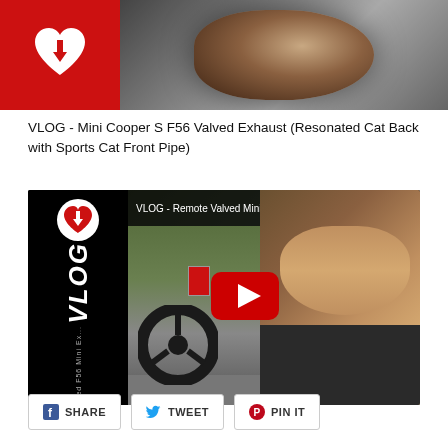[Figure (screenshot): Top thumbnail image showing a hand near a car key/ignition with a red logo on the left side]
VLOG - Mini Cooper S F56 Valved Exhaust (Resonated Cat Back with Sports Cat Front Pipe)
[Figure (screenshot): YouTube video thumbnail showing a VLOG about Remote Valved Mini Cooper F56 Mini Exhaust, with a man driving a car and a YouTube play button overlay. Left strip shows VLOG branding with logo.]
SHARE
TWEET
PIN IT